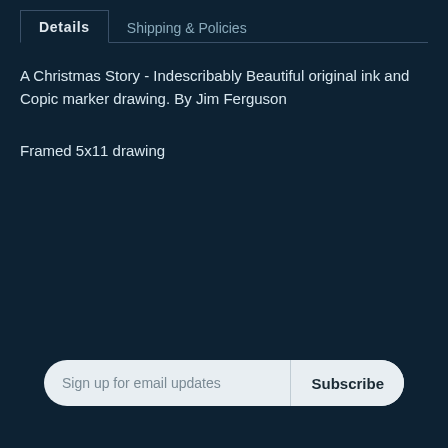Details	Shipping & Policies
A Christmas Story - Indescribably Beautiful original ink and Copic marker drawing. By Jim Ferguson
Framed 5x11 drawing
Sign up for email updates	Subscribe